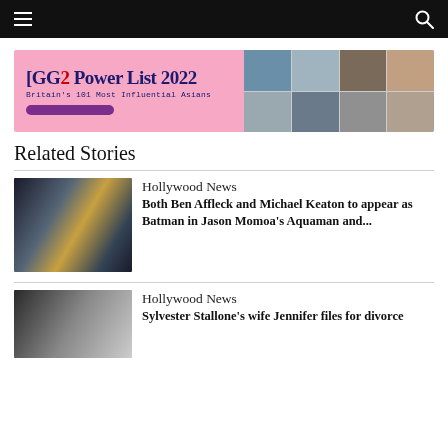Navigation bar with menu and search icons
[Figure (illustration): GG2 Power List 2022 advertisement banner — Britain's 101 Most Influential Asians, with a grid of portrait photos on the right]
Related Stories
[Figure (photo): Composite image of Batman characters including Michael Keaton, Jason Momoa as Aquaman, and another Batman figure]
Hollywood News
Both Ben Affleck and Michael Keaton to appear as Batman in Jason Momoa's Aquaman and...
[Figure (photo): Sylvester Stallone and Jennifer Flavin at an awards event]
Hollywood News
Sylvester Stallone's wife Jennifer files for divorce